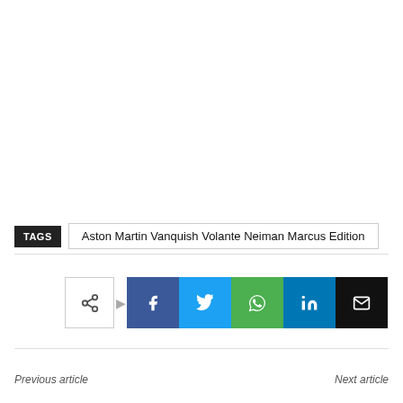TAGS  Aston Martin Vanquish Volante Neiman Marcus Edition
[Figure (infographic): Social sharing buttons row: share icon outline button, Facebook (blue), Twitter (light blue), WhatsApp (green), LinkedIn (dark blue), Email (black)]
Previous article
Next article